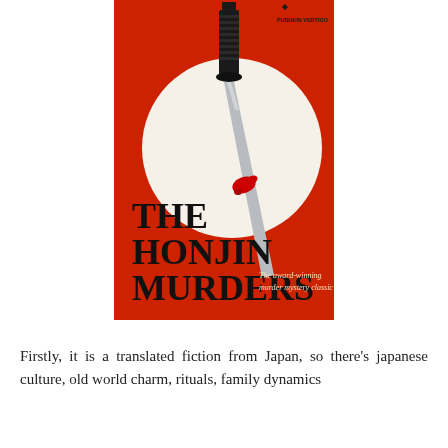[Figure (illustration): Book cover of 'The Honjin Murders'. Red background with a large white circle in the center. A dark Japanese sword (katana handle and blade) plunges diagonally through the circle with a blood-red splash at the point of contact. Bold stylized text at bottom-left reads 'THE HONJIN MURDERS' in black lettering resembling Japanese calligraphy style. Smaller italic text to the right reads 'The award-winning murder mystery classic'. A publisher logo (Pushkin Vertigo) appears at the top right.]
Firstly, it is a translated fiction from Japan, so there's japanese culture, old world charm, rituals, family dynamics